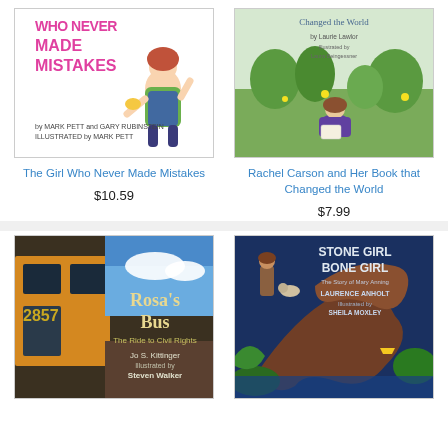[Figure (illustration): Book cover: The Girl Who Never Made Mistakes - cartoon girl with pink text on white background]
The Girl Who Never Made Mistakes
$10.59
[Figure (illustration): Book cover: Rachel Carson and Her Book that Changed the World - illustrated girl in field]
Rachel Carson and Her Book that Changed the World
$7.99
[Figure (illustration): Book cover: Rosa's Bus - The Ride to Civil Rights, illustrated bus scene]
[Figure (illustration): Book cover: Stone Girl Bone Girl - illustrated dinosaur/fossil scene]